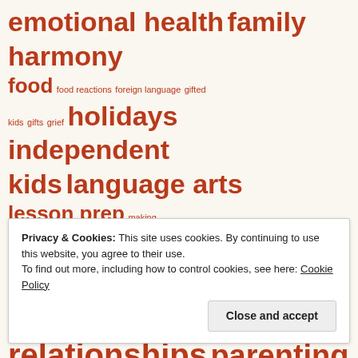emotional health family harmony
food food reactions foreign language gifted kids gifts grief holidays
independent kids language arts
lesson prep making connections math media mental illness
money motivation music online learning
parent-child relationships parenting
physical education planning practical life skills puberty
public school racism reading reading instruction
reasons to homeschool religion resources
Privacy & Cookies: This site uses cookies. By continuing to use this website, you agree to their use.
To find out more, including how to control cookies, see here: Cookie Policy
Close and accept